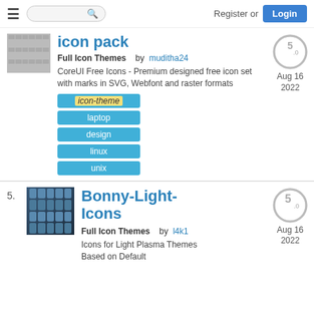Register or Login
icon pack
Full Icon Themes   by muditha24
CoreUI Free Icons - Premium designed free icon set with marks in SVG, Webfont and raster formats
icon-theme
laptop
design
linux
unix
5. Bonny-Light-Icons
Bonny-Light-Icons
Full Icon Themes   by l4k1
Icons for Light Plasma Themes Based on Default